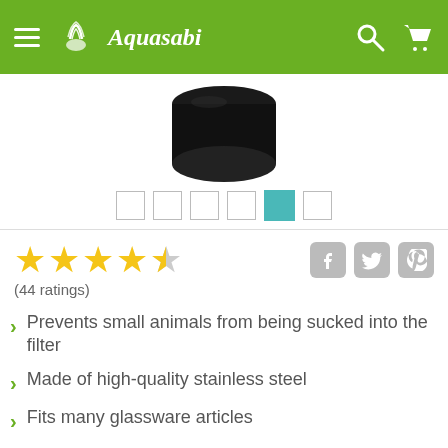Aquasabi
[Figure (photo): Product photo showing a black cylindrical filter piece against white background]
(44 ratings)
Prevents small animals from being sucked into the filter
Made of high-quality stainless steel
Fits many glassware articles
Perfect for shrimpbreeding
Available for 12/16 and 16/22 mm